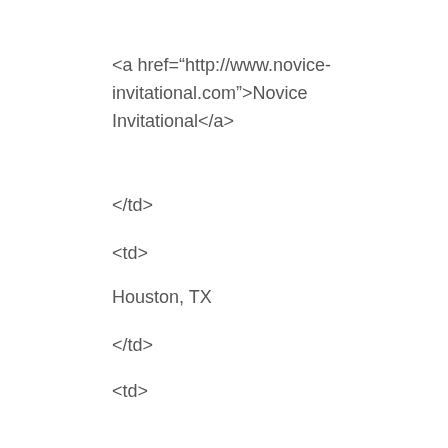<a href="http://www.novice-invitational.com">Novice Invitational</a>
</td>
<td>
Houston, TX
</td>
<td>
<a href="mailto:peggy.bourque@att.net">Peggy Bourque</a>
</td>
<td>
713-828-0961
</td>
<td>
&nbsp;
</td>
<td>